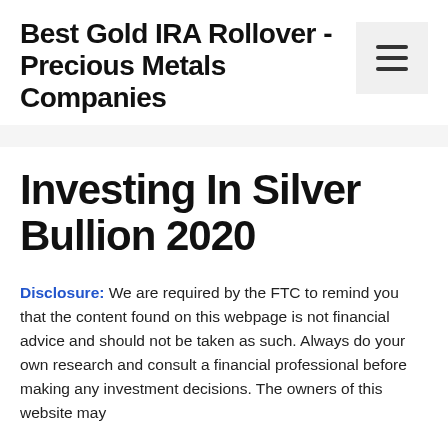Best Gold IRA Rollover - Precious Metals Companies
Investing In Silver Bullion 2020
Disclosure: We are required by the FTC to remind you that the content found on this webpage is not financial advice and should not be taken as such. Always do your own research and consult a financial professional before making any investment decisions. The owners of this website may